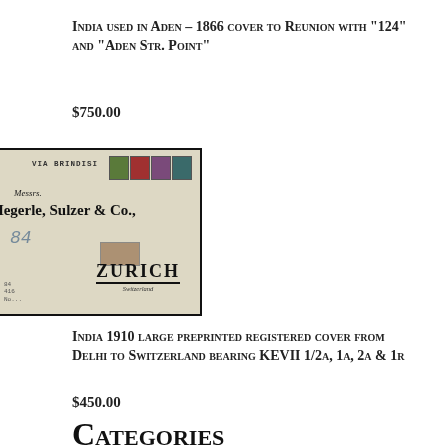India used in Aden – 1866 cover to Reunion with "124" and "ADEN STR. POINT"
$750.00
[Figure (photo): Photograph of an envelope addressed to Messrs. Hegerle, Sulzer & Co., Zurich, Switzerland, marked VIA BRINDISI with stamps, handwritten notations, and a small label.]
India 1910 large preprinted registered cover from Delhi to Switzerland bearing KEVII 1/2a, 1a, 2a & 1r
$450.00
Categories